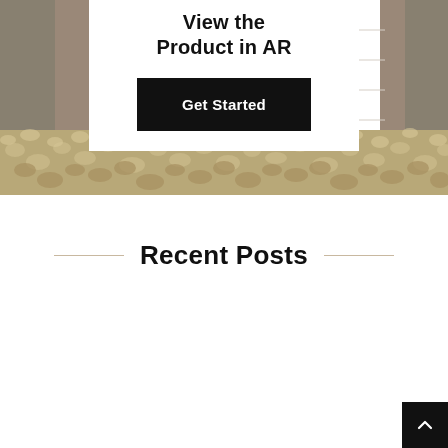[Figure (photo): Background photo showing a jute/pebble rug texture on a hardwood floor with furniture legs visible on sides, partially covered by a white card overlay]
View the Product in AR
Get Started
Recent Posts
[Figure (other): Back-to-top arrow button in bottom right corner, dark background with upward chevron]